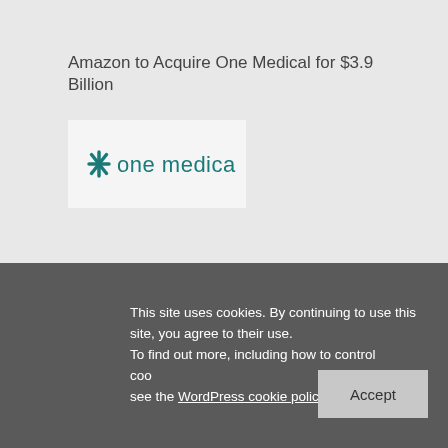Amazon to Acquire One Medical for $3.9 Billion
[Figure (logo): One Medical logo: teal cross/asterisk icon followed by 'one medical' in teal lowercase text on light background]
Fernweh to Acquire Controlling Interest in AZZ Infrastructure Solutions Segment
[Figure (logo): Fernweh Group logo: gold/blue stylized diamond with swoosh, 'FERNWEH' in blue, 'GROUP' in blue below]
Biotechnology Companies to Be Acquired by Vertex...
[Figure (logo): ViaCyte logo]
This site uses cookies. By continuing to use this site, you agree to their use. To find out more, including how to control cookies, see the WordPress cookie policy